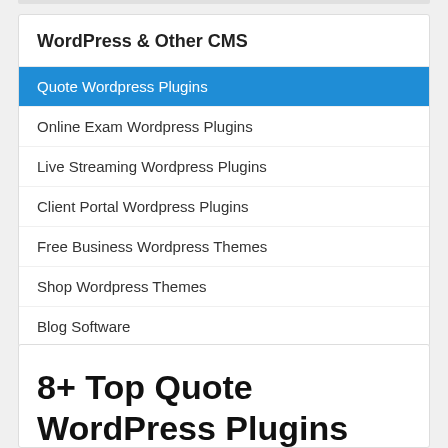WordPress & Other CMS
Quote Wordpress Plugins
Online Exam Wordpress Plugins
Live Streaming Wordpress Plugins
Client Portal Wordpress Plugins
Free Business Wordpress Themes
Shop Wordpress Themes
Blog Software
8+ Top Quote WordPress Plugins 2022 (Free & Paid)